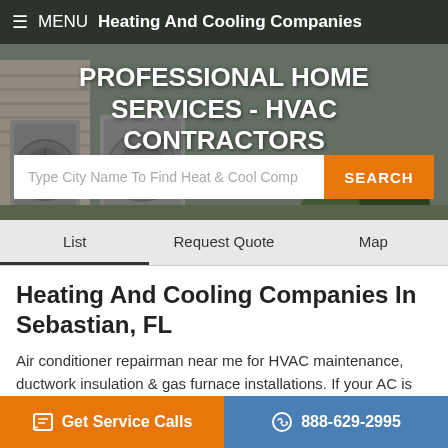[Figure (screenshot): Hero background photo of HVAC outdoor unit and landscaping]
≡ MENU   Heating And Cooling Companies
PROFESSIONAL HOME SERVICES - HVAC CONTRACTORS
Type City Name To Find Heat & Cool Comp
SEARCH
List   Request Quote   Map
Heating And Cooling Companies In Sebastian, FL
Air conditioner repairman near me for HVAC maintenance, ductwork insulation & gas furnace installations. If your AC is running but not cooling, get estimates from local technicians on central heating systems to troubleshoot compressor relays, defrost sensors, control boards, resistors & fan motor on the condenser.
Florida - Sebastian HVAC Contractors
Get Service Calls
888-629-2995